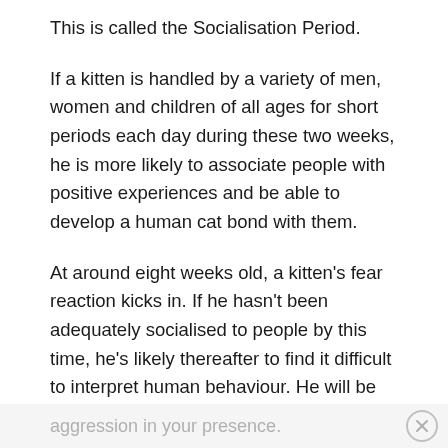This is called the Socialisation Period.
If a kitten is handled by a variety of men, women and children of all ages for short periods each day during these two weeks, he is more likely to associate people with positive experiences and be able to develop a human cat bond with them.
At around eight weeks old, a kitten's fear reaction kicks in. If he hasn't been adequately socialised to people by this time, he's likely thereafter to find it difficult to interpret human behaviour. He will be frightened when you approach and even display fear-related
aggression in your presence.